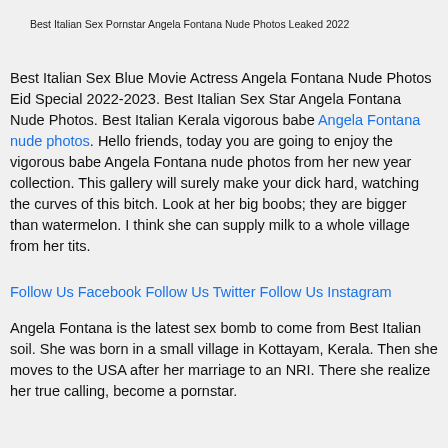Best Italian Sex Pornstar Angela Fontana Nude Photos Leaked 2022
Best Italian Sex Blue Movie Actress Angela Fontana Nude Photos Eid Special 2022-2023. Best Italian Sex Star Angela Fontana Nude Photos. Best Italian Kerala vigorous babe Angela Fontana nude photos. Hello friends, today you are going to enjoy the vigorous babe Angela Fontana nude photos from her new year collection. This gallery will surely make your dick hard, watching the curves of this bitch. Look at her big boobs; they are bigger than watermelon. I think she can supply milk to a whole village from her tits.
Follow Us Facebook Follow Us Twitter Follow Us Instagram
Angela Fontana is the latest sex bomb to come from Best Italian soil. She was born in a small village in Kottayam, Kerala. Then she moves to the USA after her marriage to an NRI. There she realize her true calling, become a pornstar.